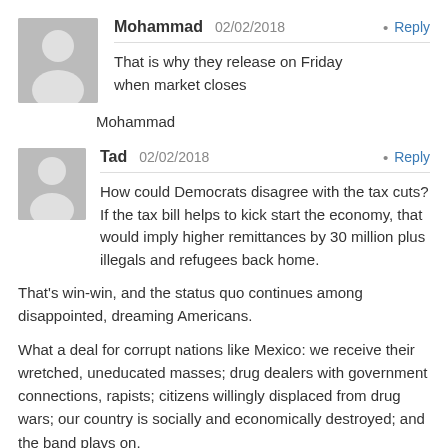Mohammad — 02/02/2018 • Reply
That is why they release on Friday when market closes
Mohammad
Tad — 02/02/2018 • Reply
How could Democrats disagree with the tax cuts? If the tax bill helps to kick start the economy, that would imply higher remittances by 30 million plus illegals and refugees back home.
That's win-win, and the status quo continues among disappointed, dreaming Americans.
What a deal for corrupt nations like Mexico: we receive their wretched, uneducated masses; drug dealers with government connections, rapists; citizens willingly displaced from drug wars; our country is socially and economically destroyed; and the band plays on.